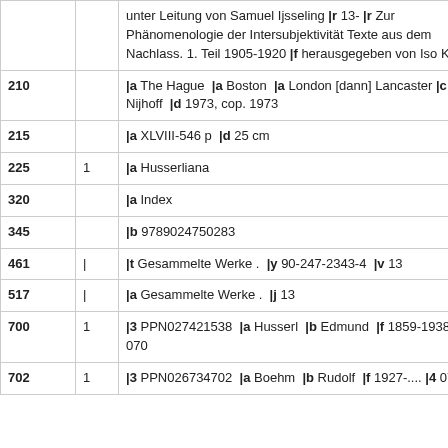| Field | Indicator | Data |
| --- | --- | --- |
|  |  | unter Leitung von Samuel Ijsseling |r 13- |r Zur Phänomenologie der Intersubjektivität Texte aus dem Nachlass. 1. Teil 1905-1920 |f herausgegeben von Iso Kern |
| 210 |  | |a The Hague |a Boston |a London [dann] Lancaster |c M. Nijhoff |d 1973, cop. 1973 |
| 215 |  | |a XLVIII-546 p |d 25 cm |
| 225 | 1 | |a Husserliana |
| 320 |  | |a Index |
| 345 |  | |b 9789024750283 |
| 461 | | | |t Gesammelte Werke . |y 90-247-2343-4 |v 13 |
| 517 | | | |a Gesammelte Werke . |j 13 |
| 700 | 1 | |3 PPN027421538 |a Husserl |b Edmund |f 1859-1938 |4 070 |
| 702 | 1 | |3 PPN026734702 |a Boehm |b Rudolf |f 1927-.... |4 070 |